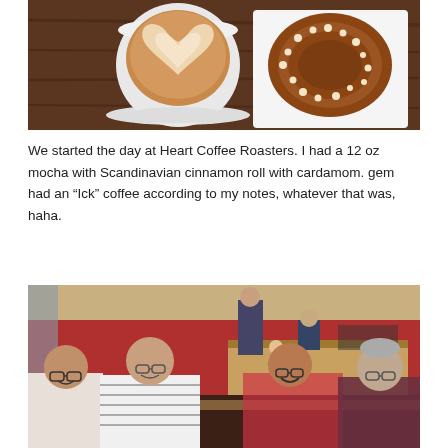[Figure (photo): Two food/drink items on a wooden table: a latte with heart latte art in a white cup on the left, and a Scandinavian cinnamon roll with sugar pearls on a white napkin on the right.]
We started the day at Heart Coffee Roasters. I had a 12 oz mocha with Scandinavian cinnamon roll with cardamom. gem had an “Ick” coffee according to my notes, whatever that was, haha.
[Figure (photo): Four people seated at a table in a restaurant/cafe with red walls. From left to right: a young man with glasses smiling, a middle-aged woman in a striped shirt, a younger woman with glasses smiling, and an older man with gray hair. Other diners and a service counter are visible in the background.]